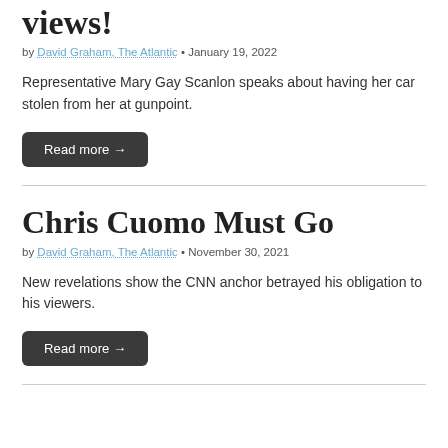views!
by David Graham, The Atlantic • January 19, 2022
Representative Mary Gay Scanlon speaks about having her car stolen from her at gunpoint.
Read more →
Chris Cuomo Must Go
by David Graham, The Atlantic • November 30, 2021
New revelations show the CNN anchor betrayed his obligation to his viewers.
Read more →